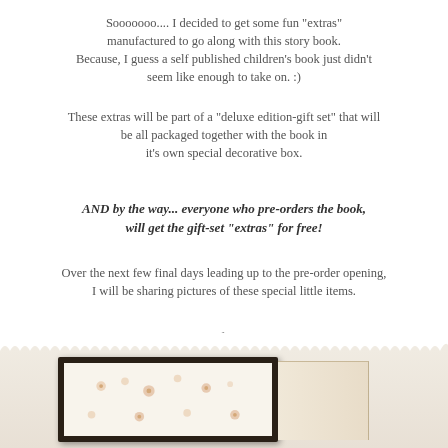Sooooooo.... I decided to get some fun "extras" manufactured to go along with this story book. Because, I guess a self published children's book just didn't seem like enough to take on. :)
These extras will be part of a "deluxe edition-gift set" that will be all packaged together with the book in it's own special decorative box.
AND by the way... everyone who pre-orders the book, will get the gift-set "extras" for free!
Over the next few final days leading up to the pre-order opening, I will be sharing pictures of these special little items.
Up first..
[Figure (photo): A photo of a decorative framed item, appearing to show a floral or patterned design, with a cream/beige background and dark frame, with a lacy scalloped border around the image area.]